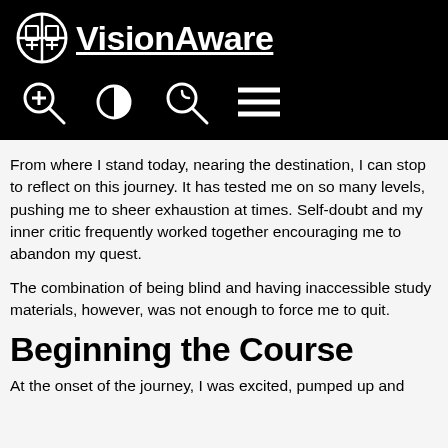APH VisionAware
From where I stand today, nearing the destination, I can stop to reflect on this journey. It has tested me on so many levels, pushing me to sheer exhaustion at times. Self-doubt and my inner critic frequently worked together encouraging me to abandon my quest.
The combination of being blind and having inaccessible study materials, however, was not enough to force me to quit.
Beginning the Course
At the onset of the journey, I was excited, pumped up and